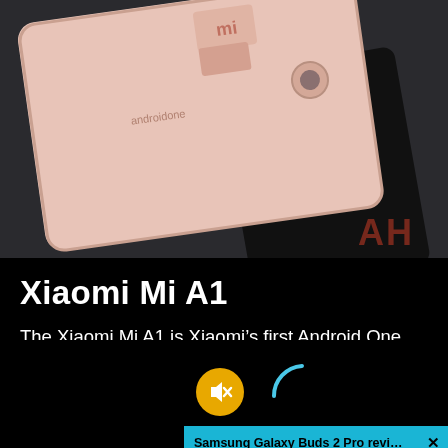[Figure (photo): Photo of a Xiaomi Mi A1 smartphone in pink/rose gold color, placed on a dark surface. The Mi logo and androidone branding are visible on the back. AH watermark in red/dark orange at bottom right.]
Xiaomi Mi A1
The Xiaomi Mi A1 is Xiaomi’s first Android One smartphone, it sports a 5.5-inch fullHD display, while it is fueled by the Snapdragon 625 SoC. It comes with 4GB of RAM and
[Figure (screenshot): Browser notification bar overlay reading 'Samsung Galaxy Buds 2 Pro review | Gr...' with a close X button, in teal/cyan color. Below is a video player area with a muted (yellow circle with crossed-out speaker) button and a loading spinner arc in cyan.]